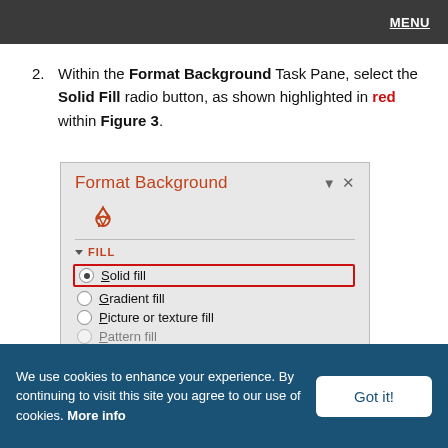MENU
2. Within the Format Background Task Pane, select the Solid Fill radio button, as shown highlighted in red within Figure 3.
[Figure (screenshot): Screenshot of Microsoft PowerPoint Format Background task pane showing Fill options. Solid fill radio button is highlighted with a red border. Other options visible: Gradient fill, Picture or texture fill, Pattern fill (partially visible).]
We use cookies to enhance your experience. By continuing to visit this site you agree to our use of cookies. More info